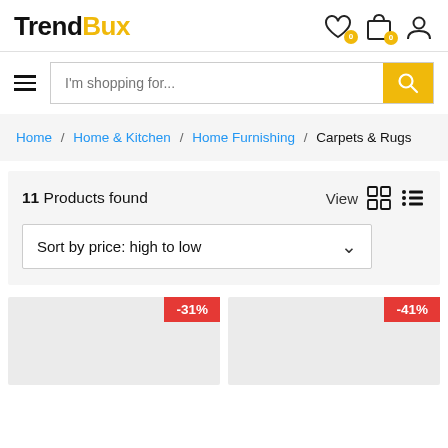TrendBux
I'm shopping for...
Home / Home & Kitchen / Home Furnishing / Carpets & Rugs
11 Products found
Sort by price: high to low
[Figure (other): Product card with -31% discount badge]
[Figure (other): Product card with -41% discount badge]